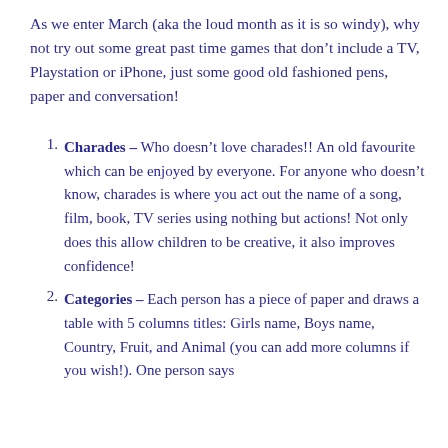As we enter March (aka the loud month as it is so windy), why not try out some great past time games that don't include a TV, Playstation or iPhone, just some good old fashioned pens, paper and conversation!
Charades – Who doesn't love charades!! An old favourite which can be enjoyed by everyone. For anyone who doesn't know, charades is where you act out the name of a song, film, book, TV series using nothing but actions! Not only does this allow children to be creative, it also improves confidence!
Categories – Each person has a piece of paper and draws a table with 5 columns titles: Girls name, Boys name, Country, Fruit, and Animal (you can add more columns if you wish!). One person says